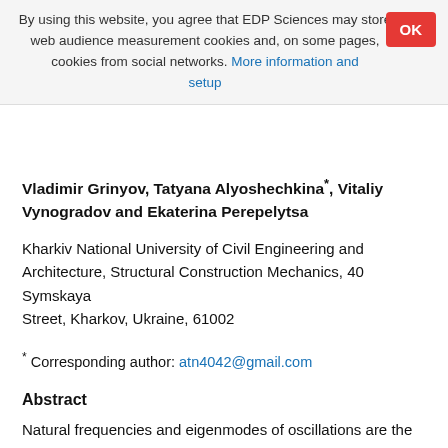By using this website, you agree that EDP Sciences may store web audience measurement cookies and, on some pages, cookies from social networks. More information and setup
Vladimir Grinyov, Tatyana Alyoshechkina*, Vitaliy Vynogradov and Ekaterina Perepelytsa
Kharkiv National University of Civil Engineering and Architecture, Structural Construction Mechanics, 40 Symskaya Street, Kharkov, Ukraine, 61002
* Corresponding author: atn4042@gmail.com
Abstract
Natural frequencies and eigenmodes of oscillations are the determining values in the study of dynamic processes in many constructions, including mast systems when they are affected by time-varying loads: wind, seismic, etc. [7]. The